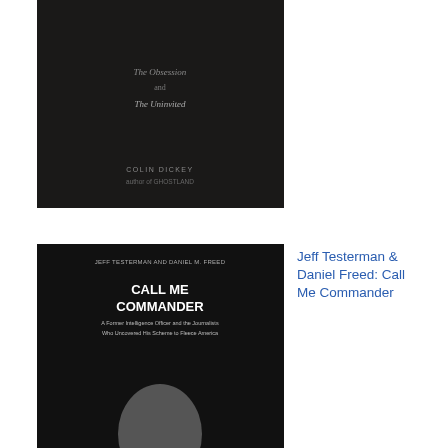[Figure (photo): Book cover: dark, atmospheric. Colin Dickey author. Dark forest/building imagery.]
[Figure (photo): Book cover: Call Me Commander by Jeff Testerman & Daniel Freed. Black and white image of man.]
Jeff Testerman & Daniel Freed: Call Me Commander
[Figure (photo): Book cover: We Are Bellingcat by Eliot Higgins. Black cover with question mark. Global Crime, Online Sleuths, and the Bold Future of News.]
Eliot Higgins: We Are Bellingcat
[Figure (photo): Book cover: Craig Unger: American (partial, red cover)]
Craig Unger: American
Wi
jun
sen
nev
unc
a
sin
Co
Mc
did
ide
a
nu
of
par
me
in
the
US
gov
inc
Am
Lee